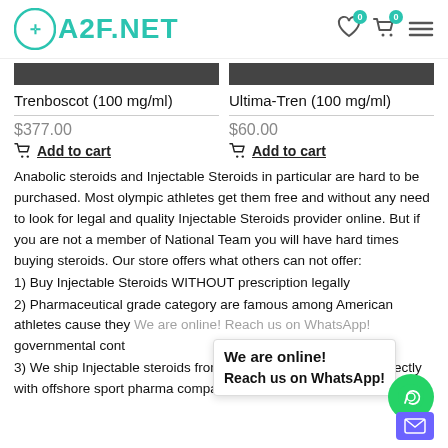A2F.NET
[Figure (screenshot): Product image strip for Trenboscot]
Trenboscot (100 mg/ml)
$377.00
Add to cart
[Figure (screenshot): Product image strip for Ultima-Tren]
Ultima-Tren (100 mg/ml)
$60.00
Add to cart
Anabolic steroids and Injectable Steroids in particular are hard to be purchased. Most olympic athletes get them free and without any need to look for legal and quality Injectable Steroids provider online. But if you are not a member of National Team you will have hard times buying steroids. Our store offers what others can not offer:
1) Buy Injectable Steroids WITHOUT prescription legally
2) Pharmaceutical grade category are famous among American athletes cause they [partially obscured] governmental cont[rol] [partially obscured]
3) We ship Injectable steroids from outside of USA. We work directly with offshore sport pharma companies where buying